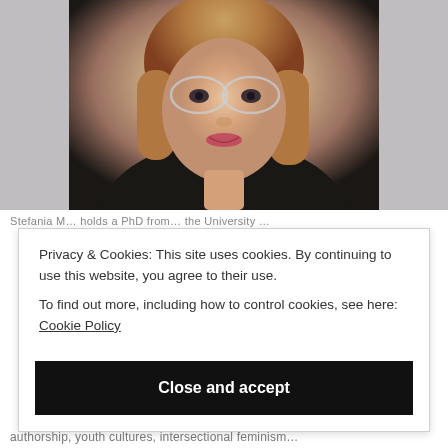[Figure (photo): Close-up portrait photo of a woman with short reddish-blonde hair, wearing clear-framed glasses and a dark top, smiling slightly]
Stefania M... holds a PhD from the University...
Privacy & Cookies: This site uses cookies. By continuing to use this website, you agree to their use.
To find out more, including how to control cookies, see here: Cookie Policy
Close and accept
authorship, youth cultures, intersectional feminism...